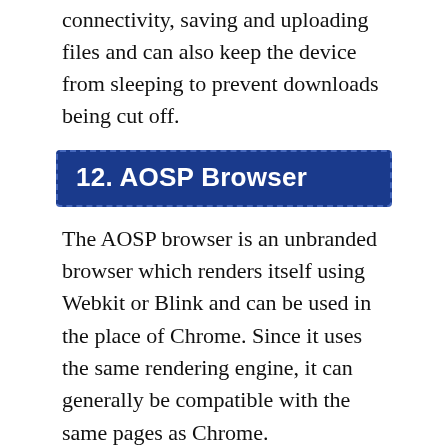connectivity, saving and uploading files and can also keep the device from sleeping to prevent downloads being cut off.
12. AOSP Browser
The AOSP browser is an unbranded browser which renders itself using Webkit or Blink and can be used in the place of Chrome. Since it uses the same rendering engine, it can generally be compatible with the same pages as Chrome.
The AOSP browser used to support Flash freely but the recent version requires your